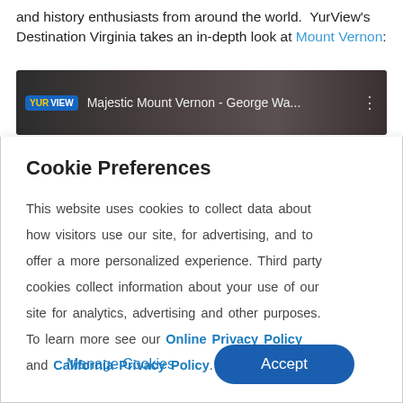and history enthusiasts from around the world.  YurView's Destination Virginia takes an in-depth look at Mount Vernon:
[Figure (screenshot): YurView video thumbnail showing 'Majestic Mount Vernon - George Wa...' with YurView logo badge on a dark background with trees]
Cookie Preferences
This website uses cookies to collect data about how visitors use our site, for advertising, and to offer a more personalized experience. Third party cookies collect information about your use of our site for analytics, advertising and other purposes. To learn more see our Online Privacy Policy and California Privacy Policy.
Manage Cookies   Accept